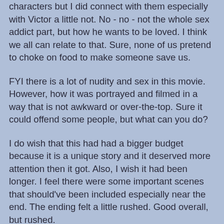characters but I did connect with them especially with Victor a little not. No - no - not the whole sex addict part, but how he wants to be loved. I think we all can relate to that. Sure, none of us pretend to choke on food to make someone save us.
FYI there is a lot of nudity and sex in this movie. However, how it was portrayed and filmed in a way that is not awkward or over-the-top. Sure it could offend some people, but what can you do?
I do wish that this had had a bigger budget because it is a unique story and it deserved more attention then it got. Also, I wish it had been longer. I feel there were some important scenes that should've been included especially near the end. The ending felt a little rushed. Good overall, but rushed.
In the end, a part of me really liked this more than the book. The book was good, but this was great. My only issue was how I felt the ending was a little rushed. The characters were done well. Even with a lower budget, it was filmed and presented well. I do encourage watching this, but I do suggest reading the book first. Out of five stars, I'll give this